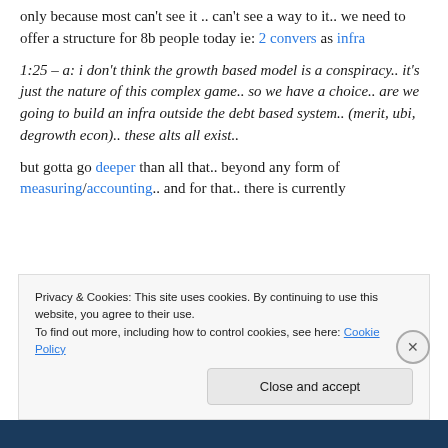only because most can't see it .. can't see a way to it.. we need to offer a structure for 8b people today ie: 2 convers as infra
1:25 – a: i don't think the growth based model is a conspiracy.. it's just the nature of this complex game.. so we have a choice.. are we going to build an infra outside the debt based system.. (merit, ubi, degrowth econ).. these alts all exist..
but gotta go deeper than all that.. beyond any form of measuring/accounting.. and for that.. there is currently
Privacy & Cookies: This site uses cookies. By continuing to use this website, you agree to their use.
To find out more, including how to control cookies, see here: Cookie Policy
Close and accept